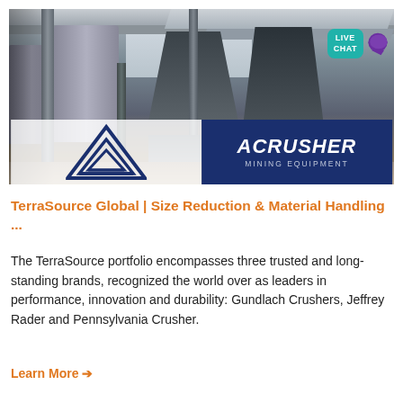[Figure (photo): Industrial mining/processing facility photo showing large metal hoppers, silos, and structural beams under a roof, with an ACRUSHER Mining Equipment logo overlay at the bottom of the image. A 'LIVE CHAT' teal button with a purple speech bubble icon appears in the top right corner of the image.]
TerraSource Global | Size Reduction & Material Handling ...
The TerraSource portfolio encompasses three trusted and long-standing brands, recognized the world over as leaders in performance, innovation and durability: Gundlach Crushers, Jeffrey Rader and Pennsylvania Crusher.
Learn More →